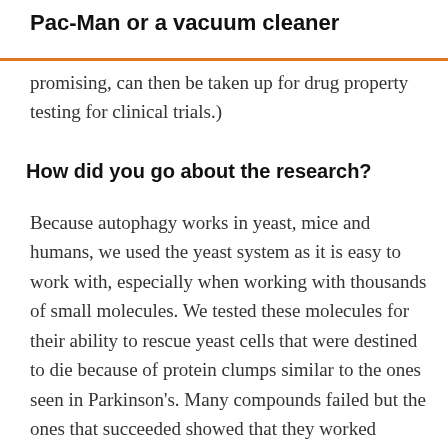Pac-Man or a vacuum cleaner
promising, can then be taken up for drug property testing for clinical trials.)
How did you go about the research?
Because autophagy works in yeast, mice and humans, we used the yeast system as it is easy to work with, especially when working with thousands of small molecules. We tested these molecules for their ability to rescue yeast cells that were destined to die because of protein clumps similar to the ones seen in Parkinson's. Many compounds failed but the ones that succeeded showed that they worked